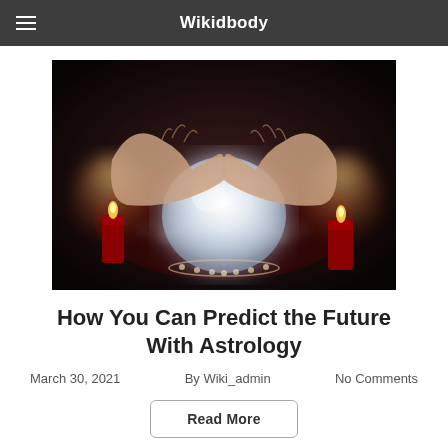Wikidbody
[Figure (photo): A glowing crystal ball resting on a surface with red candles on either side, hands hovering above it in a dark, mystical setting.]
How You Can Predict the Future With Astrology
March 30, 2021    By Wiki_admin    No Comments
Read More